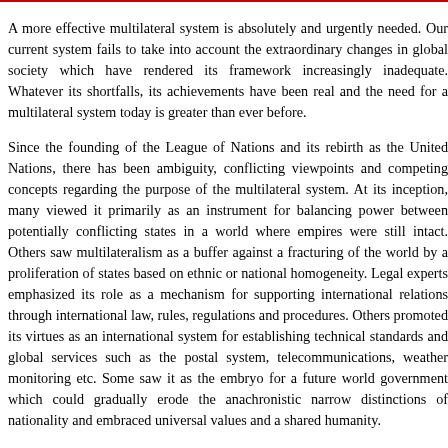A more effective multilateral system is absolutely and urgently needed. Our current system fails to take into account the extraordinary changes in global society which have rendered its framework increasingly inadequate. Whatever its shortfalls, its achievements have been real and the need for a multilateral system today is greater than ever before.
Since the founding of the League of Nations and its rebirth as the United Nations, there has been ambiguity, conflicting viewpoints and competing concepts regarding the purpose of the multilateral system. At its inception, many viewed it primarily as an instrument for balancing power between potentially conflicting states in a world where empires were still intact. Others saw multilateralism as a buffer against a fracturing of the world by a proliferation of states based on ethnic or national homogeneity. Legal experts emphasized its role as a mechanism for supporting international relations through international law, rules, regulations and procedures. Others promoted its virtues as an international system for establishing technical standards and global services such as the postal system, telecommunications, weather monitoring etc. Some saw it as the embryo for a future world government which could gradually erode the anachronistic narrow distinctions of nationality and embraced universal values and a shared humanity.
The UN was founded by 55 nations in 1945–including many such as India that were still technically within the imperial system. None could anticipate at the time that within 15 years the structure of empires would virtually dissolve into thin air, emancipating one-third of